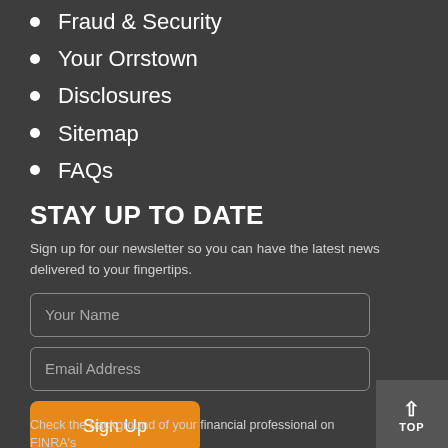Fraud & Security
Your Orrstown
Disclosures
Sitemap
FAQs
STAY UP TO DATE
Sign up for our newsletter so you can have the latest news delivered to your fingertips.
Your Name
Email Address
Sign Up
Check the background of your financial professional on FINRA's